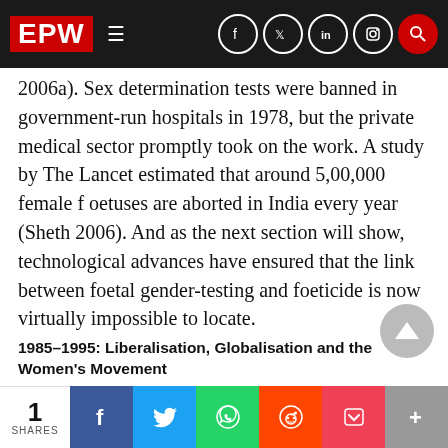EPW — navigation bar with social icons
2006a). Sex determination tests were banned in government-run hospitals in 1978, but the private medical sector promptly took on the work. A study by The Lancet estimated that around 5,00,000 female foetuses are aborted in India every year (Sheth 2006). And as the next section will show, technological advances have ensured that the link between foetal gender-testing and foeticide is now virtually impossible to locate.
1985–1995: Liberalisation, Globalisation and the Women's Movement
Throughout the 1990s, there were several par and often conflicting national and internationa...
1 SHARES | Share on Facebook | Share on Twitter | Share on WhatsApp | Share on Reddit | Share on Pocket | More